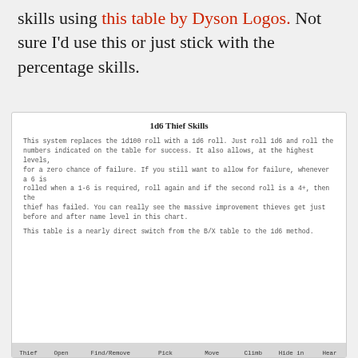skills using this table by Dyson Logos. Not sure I'd use this or just stick with the percentage skills.
1d6 Thief Skills
This system replaces the 1d100 roll with a 1d6 roll. Just roll 1d6 and roll the numbers indicated on the table for success. It also allows, at the highest levels, for a zero chance of failure. If you still want to allow for failure, whenever a 6 is rolled when a 1-6 is required, roll again and if the second roll is a 4+, then the thief has failed. You can really see the massive improvement thieves get just before and after name level in this chart.
This table is a nearly direct switch from the B/X table to the 1d6 method.
| Thief Level | Open Locks | Find/Remove Traps | Pick Pockets | Move Silently | Climb Walls | Hide in Shadows | Hear Noise |
| --- | --- | --- | --- | --- | --- | --- | --- |
| 1 | 1 | 1 | 1 | 1 | 1-5 | 1 | 1-2 |
| 2 | 1 | 1 | 1 | 1 | 1-5 | 1 | 1-2 |
| 3 | 1 | 1 | 1-2 | 1-2 | 1-5 | 1 | 1-3 |
| 4 | 1-2 | 1 | 1-2 | 1-2 | 1-5 | 1 | 1-3 |
| 5 | 1-2 | 1-2 | 1-2 | 1-2 | 1-5 | 1 | 1-3 |
| 6 | 1-3 | 1-2 | 1-3 | 1-3 | 1-5 | 1-2 | 1-3 |
| 7 | 1-3 | 1-3 | 1-3 | 1-3 | 1-5 | 1-2 | 1-4 |
| 8 | 1-4 | 1-3 | 1-4 | 1-4 | 1-5 | 1-3 | 1-4 |
| 9 | 1-4 | 1-4 | 1-4 | 1-4 | 1-5 | 1-4 | 1-4 |
| 10 | 1-5 | 1-4 | 1-5 | 2-5 | 1-6 | 1-4 | 1-4 |
| 11 | 1-5 | 1-5 | 1-5 | 1-5 | 1-6 | 1-5 | 1-5 |
| 12 | 1-6 | 1-5 | 1-6 | 1-6 | 1-6 | 1-5 | 1-5 |
| 13 | 1-6 | 1-6 | 1-7 | 1-6 | 1-6 | 1-5 | 1-5 |
| 14 | 1-6 | 1-6 | 1-7 | 1-6 | 1-6 | 1-6 | 1-5 |